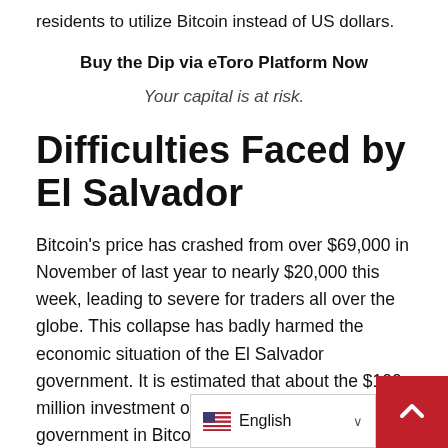residents to utilize Bitcoin instead of US dollars.
Buy the Dip via eToro Platform Now
Your capital is at risk.
Difficulties Faced by El Salvador
Bitcoin's price has crashed from over $69,000 in November of last year to nearly $20,000 this week, leading to severe for traders all over the globe. This collapse has badly harmed the economic situation of the El Salvador government. It is estimated that about the $100 million investment of the El Salvador government in Bitcoin has come down to almost half of its value because o